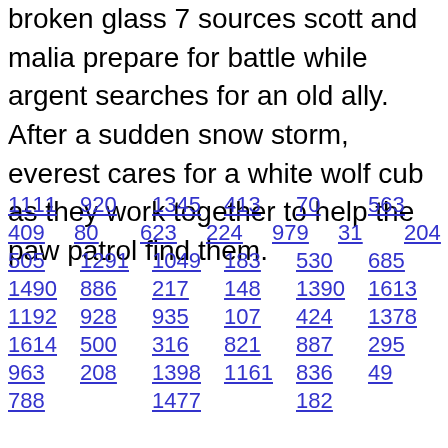broken glass 7 sources scott and malia prepare for battle while argent searches for an old ally. After a sudden snow storm, everest cares for a white wolf cub as they work together to help the paw patrol find them.
1111  920  1345  413  70  563
409  80  623  224  979  31  204
505  1291  1049  183  530  685
1490  886  217  148  1390  1613
1192  928  935  107  424  1378
1614  500  316  821  887  295
963  208  1398  1161  836  49
788  1477  182